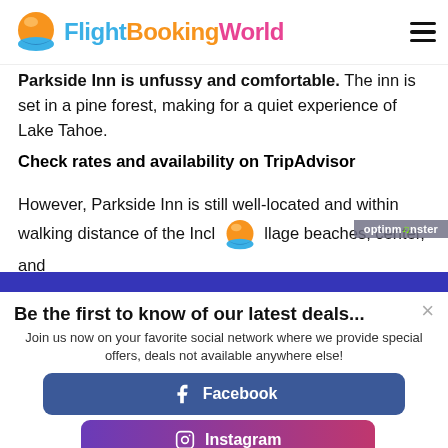FlightBookingWorld
Parkside Inn is unfussy and comfortable. The inn is set in a pine forest, making for a quiet experience of Lake Tahoe.
Check rates and availability on TripAdvisor
However, Parkside Inn is still well-located and within walking distance of the Incl [logo] llage beaches, center, and
Be the first to know of our latest deals...
Join us now on your favorite social network where we provide special offers, deals not available anywhere else!
Facebook
Instagram
Twitter